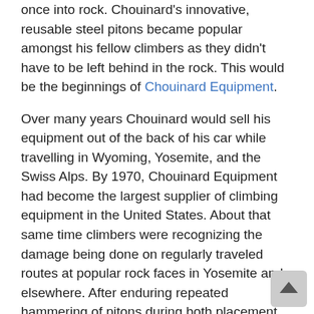once into rock. Chouinard's innovative, reusable steel pitons became popular amongst his fellow climbers as they didn't have to be left behind in the rock. This would be the beginnings of Chouinard Equipment.
Over many years Chouinard would sell his equipment out of the back of his car while travelling in Wyoming, Yosemite, and the Swiss Alps. By 1970, Chouinard Equipment had become the largest supplier of climbing equipment in the United States. About that same time climbers were recognizing the damage being done on regularly traveled routes at popular rock faces in Yosemite and elsewhere. After enduring repeated hammering of pitons during both placement and removal, the damage was becoming severe. After an ascent of one of Yosemite's most popular faces, Chouinard and a friend made the decision to phase out of the piton business altogether – the first big environmental step they would take over the years. As an alternative, they moved to aluminum chocks that could be wedged by hand rather than hammered in and out of rock cracks. Though a huge